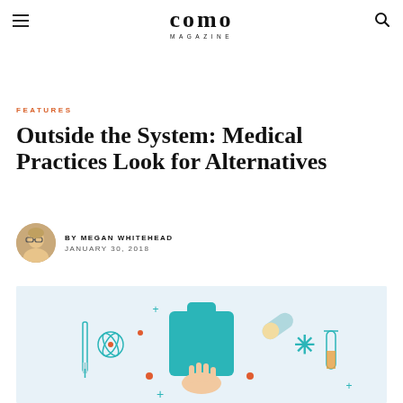como MAGAZINE
FEATURES
Outside the System: Medical Practices Look for Alternatives
BY MEGAN WHITEHEAD
JANUARY 30, 2018
[Figure (illustration): Medical illustration showing a teal cross/plus sign held by a hand, with medical icons including an atom symbol, syringe, pills, test tube, and asterisk/snowflake on a light blue background]